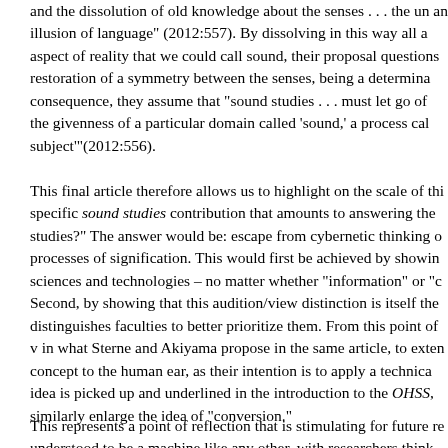and the dissolution of old knowledge about the senses . . . the un an illusion of language" (2012:557). By dissolving in this way all a aspect of reality that we could call sound, their proposal questions restoration of a symmetry between the senses, being a determina consequence, they assume that "sound studies . . . must let go of the givenness of a particular domain called 'sound,' a process cal subject'"(2012:556).
This final article therefore allows us to highlight on the scale of thi specific sound studies contribution that amounts to answering the studies?" The answer would be: escape from cybernetic thinking processes of signification. This would first be achieved by showin sciences and technologies – no matter whether "information" or "c Second, by showing that this audition/view distinction is itself the distinguishes faculties to better prioritize them. From this point of in what Sterne and Akiyama propose in the same article, to exten concept to the human ear, as their intention is to apply a technica idea is picked up and underlined in the introduction to the OHSS, similarly enlarge the idea of "conversion."
This represents a point of reflection that is stimulating for future re understood to be a machine like any other, with researchers think